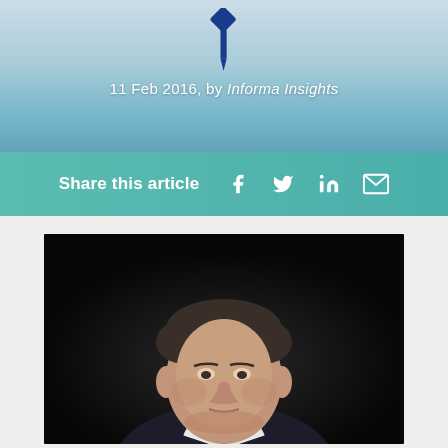11 Feb 2016, by Informa Insights
Share this article
[Figure (photo): Portrait photo of a middle-aged man in a suit against a dark background]